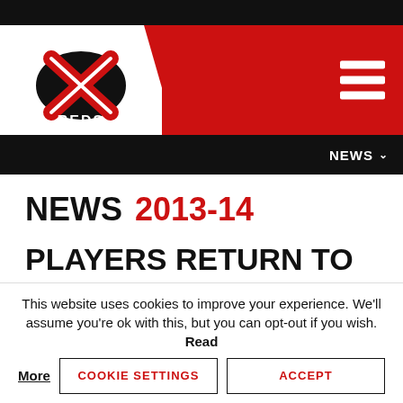[Figure (logo): Jersey Reds rugby club logo — red and black oval with white X inside, text JERSEY REDS]
NEWS v
NEWS 2013-14
PLAYERS RETURN TO TRAINING
This website uses cookies to improve your experience. We'll assume you're ok with this, but you can opt-out if you wish. Read More
COOKIE SETTINGS
ACCEPT